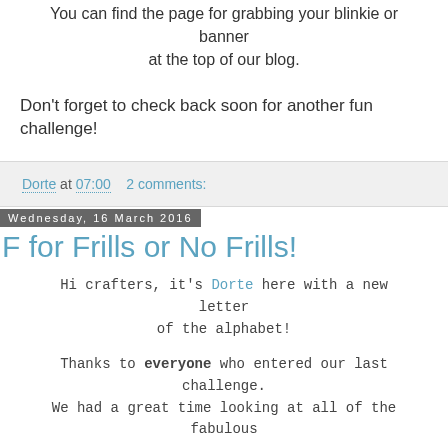You can find the page for grabbing your blinkie or banner at the top of our blog.
Don't forget to check back soon for another fun challenge!
Dorte at 07:00    2 comments:
Wednesday, 16 March 2016
F for Frills or No Frills!
Hi crafters, it's Dorte here with a new letter of the alphabet!
Thanks to everyone who entered our last challenge. We had a great time looking at all of the fabulous